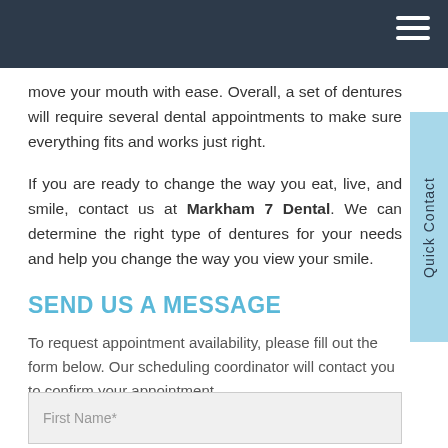move your mouth with ease. Overall, a set of dentures will require several dental appointments to make sure everything fits and works just right.
If you are ready to change the way you eat, live, and smile, contact us at Markham 7 Dental. We can determine the right type of dentures for your needs and help you change the way you view your smile.
SEND US A MESSAGE
To request appointment availability, please fill out the form below. Our scheduling coordinator will contact you to confirm your appointment.